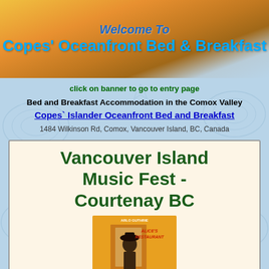[Figure (illustration): Banner with sunset/ocean gradient background showing 'Welcome To' and 'Copes' Oceanfront Bed & Breakfast' text]
click on banner to go to entry page
Bed and Breakfast Accommodation in the Comox Valley
Copes` Islander Oceanfront Bed and Breakfast
1484 Wilkinson Rd, Comox, Vancouver Island, BC, Canada
Vancouver Island Music Fest - Courtenay BC
[Figure (photo): Album cover of Arlo Guthrie - Alice's Restaurant]